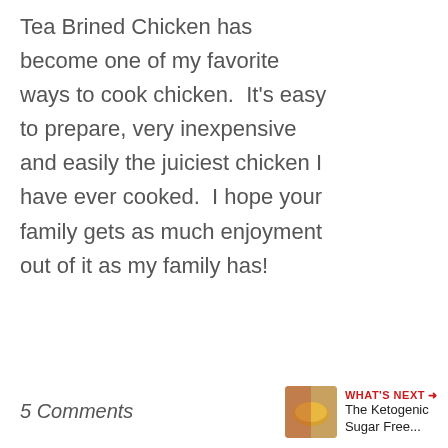Tea Brined Chicken has become one of my favorite ways to cook chicken.  It's easy to prepare, very inexpensive and easily the juiciest chicken I have ever cooked.  I hope your family gets as much enjoyment out of it as my family has!
Continue Reading →
5 Comments
[Figure (infographic): Heart (like) button with count of 1, and share button below it on the right side of the page]
[Figure (infographic): What's Next widget in bottom right corner showing a thumbnail of a food image and text 'WHAT'S NEXT → The Ketogenic Sugar Free...']